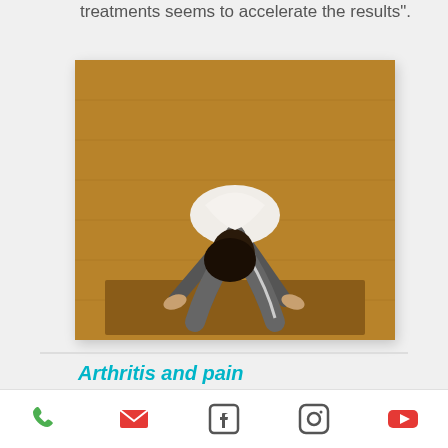treatments seems to accelerate the results".
[Figure (photo): Person performing a yoga pose (inverted V / downward dog variation) on a wooden floor, wearing white top and grey pants]
Arthritis and pain
E.L., film maker
"Esther Levy-Bremer had been devotedly
Phone | Email | Facebook | Instagram | YouTube